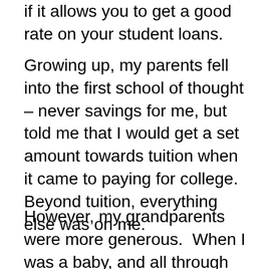if it allows you to get a good rate on your student loans.
Growing up, my parents fell into the first school of thought – never savings for me, but told me that I would get a set amount towards tuition when it came to paying for college.  Beyond tuition, everything else was on me.
However, my grandparents were more generous.  When I was a baby, and all through my childhood, they essentially invested on my behalf in a UGMA account.  This is the Uniform Gifts to Minors Act, which says that I would be the owner of the account, but that someone else (in my case, my parents) was the